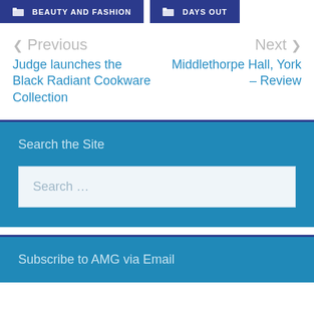BEAUTY AND FASHION | DAYS OUT
< Previous
Judge launches the Black Radiant Cookware Collection
Next >
Middlethorpe Hall, York – Review
Search the Site
Search …
Subscribe to AMG via Email